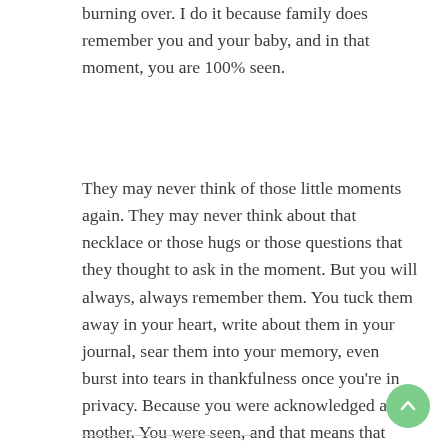burning over. I do it because family does remember you and your baby, and in that moment, you are 100% seen.
They may never think of those little moments again. They may never think about that necklace or those hugs or those questions that they thought to ask in the moment. But you will always, always remember them. You tuck them away in your heart, write about them in your journal, sear them into your memory, even burst into tears in thankfulness once you’re in privacy. Because you were acknowledged as a mother. You were seen, and that means that your precious baby was seen and remembered too.”